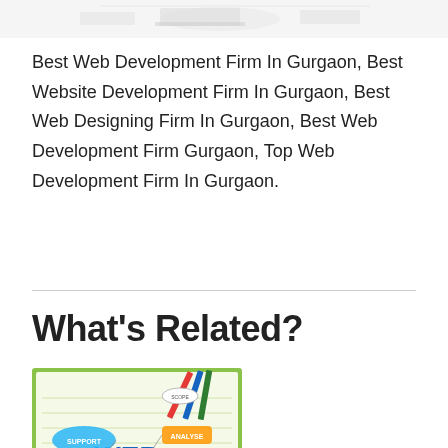[Figure (illustration): Partial top image showing sketched/illustrated laptops or devices on white background]
Best Web Development Firm In Gurgaon, Best Website Development Firm In Gurgaon, Best Web Designing Firm In Gurgaon, Best Web Development Firm Gurgaon, Top Web Development Firm In Gurgaon.
What's Related?
[Figure (illustration): Web design mind map illustration with bubbles labeled SUPPORT, ANALYSE, WEB, DESIGN, DEVELOPMENT on a light green notebook background with colored pencils]